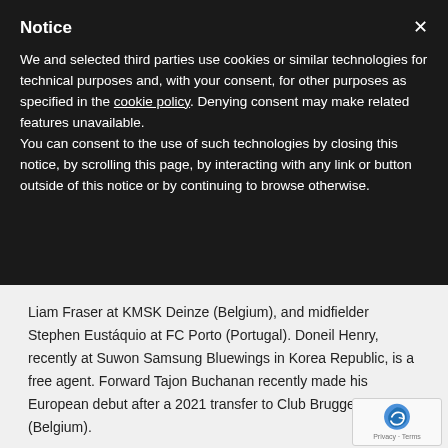Notice
We and selected third parties use cookies or similar technologies for technical purposes and, with your consent, for other purposes as specified in the cookie policy. Denying consent may make related features unavailable.
You can consent to the use of such technologies by closing this notice, by scrolling this page, by interacting with any link or button outside of this notice or by continuing to browse otherwise.
Liam Fraser at KMSK Deinze (Belgium), and midfielder Stephen Eustáquio at FC Porto (Portugal). Doneil Henry, recently at Suwon Samsung Bluewings in Korea Republic, is a free agent. Forward Tajon Buchanan recently made his European debut after a 2021 transfer to Club Brugge SV (Belgium).
Alongside Canada players at Vancouver, Toronto, Montréal and Los Angeles, midfielder Mark-Anthony